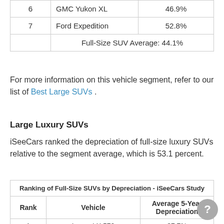| Rank | Vehicle | Average 5-Year Depreciation |
| --- | --- | --- |
| 6 | GMC Yukon XL | 46.9% |
| 7 | Ford Expedition | 52.8% |
|  | Full-Size SUV Average: 44.1% |  |
For more information on this vehicle segment, refer to our list of Best Large SUVs .
Large Luxury SUVs
iSeeCars ranked the depreciation of full-size luxury SUVs relative to the segment average, which is 53.1 percent.
| Rank | Vehicle | Average 5-Year Depreciation |
| --- | --- | --- |
| 1 | Lexus LX 570 | 37.7% |
| 2 | Mercedes-Benz G-Class | 49.9% |